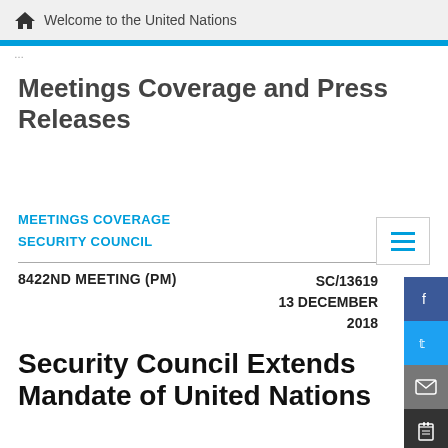Welcome to the United Nations
Meetings Coverage and Press Releases
MEETINGS COVERAGE
SECURITY COUNCIL
8422ND MEETING (PM)    SC/13619
13 DECEMBER
2018
Security Council Extends Mandate of United Nations